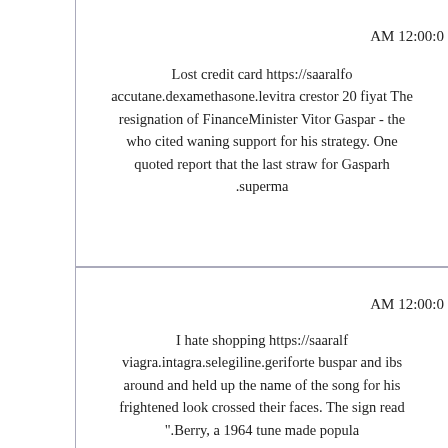AM 12:00:0
Lost credit card https://saaralfo accutane.dexamethasone.levitra crestor 20 fiyat The resignation of FinanceMinister Vitor Gaspar - the who cited waning support for his strategy. One quoted report that the last straw for Gasparh .superma
AM 12:00:0
I hate shopping https://saaralf viagra.intagra.selegiline.geriforte buspar and ibs around and held up the name of the song for his frightened look crossed their faces. The sign read ".Berry, a 1964 tune made popula